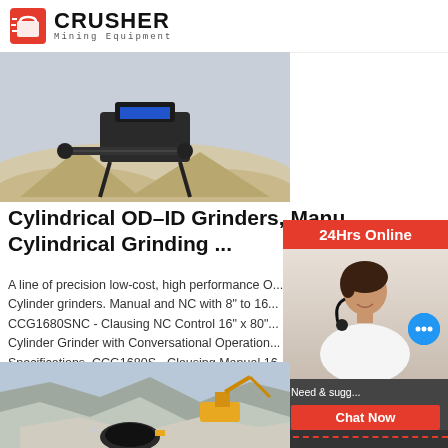[Figure (logo): Crusher Mining Equipment logo with red shopping bag icon and bold CRUSHER text]
[Figure (photo): Mining/crushing equipment in an open aggregate site with sand piles]
Cylindrical OD-ID Grinders, Manu... Cylindrical Grinding ...
A line of precision low-cost, high performance O... Cylinder grinders. Manual and NC with 8" to 16... CCG1680SNC - Clausing NC Control 16" x 80"... Cylinder Grinder with Conversational Operation... Specifications. CCG1680S - Clausing Manual 16... Precision Cylinder Grinder, Hydraulic Operated... Moving.
Read More
[Figure (photo): Sidebar: 24Hrs Online banner with customer service representative photo, chat bubble, Chat Now button, Enquiry section, limingjlmofen@sina.com email]
[Figure (photo): Bottom image: quarry/mining operation with excavator machinery]